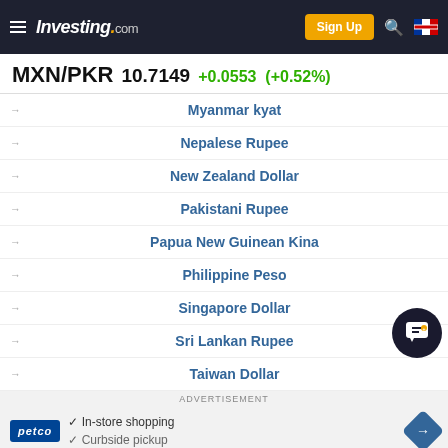Investing.com — Sign Up
MXN/PKR  10.7149  +0.0553  (+0.52%)
Myanmar kyat
Nepalese Rupee
New Zealand Dollar
Pakistani Rupee
Papua New Guinean Kina
Philippine Peso
Singapore Dollar
Sri Lankan Rupee
Taiwan Dollar
ADVERTISEMENT
petco  ✓ In-store shopping  ✓ Curbside pickup
MXN/PKR Discussions